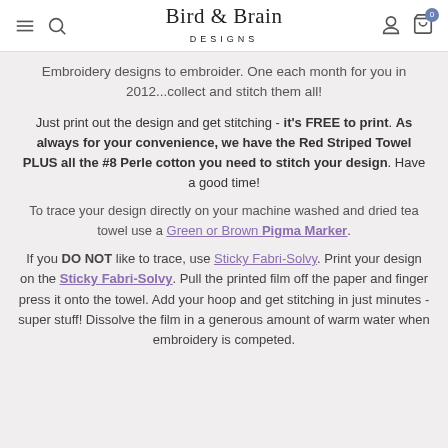Bird Brain Designs
Embroidery designs to embroider. One each month for you in 2012...collect and stitch them all!
Just print out the design and get stitching - it's FREE to print. As always for your convenience, we have the Red Striped Towel PLUS all the #8 Perle cotton you need to stitch your design. Have a good time!
To trace your design directly on your machine washed and dried tea towel use a Green or Brown Pigma Marker.
If you DO NOT like to trace, use Sticky Fabri-Solvy. Print your design on the Sticky Fabri-Solvy. Pull the printed film off the paper and finger press it onto the towel. Add your hoop and get stitching in just minutes - super stuff! Dissolve the film in a generous amount of warm water when embroidery is competed.